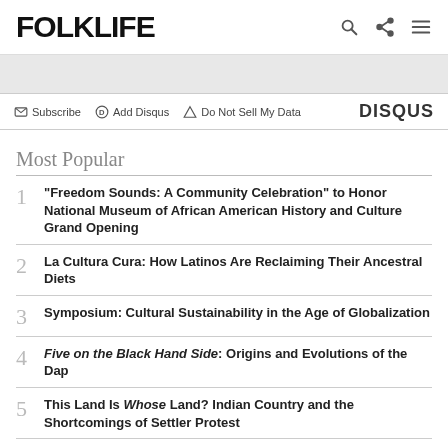FOLKLIFE
Subscribe   Add Disqus   Do Not Sell My Data   DISQUS
Most Popular
1 “Freedom Sounds: A Community Celebration” to Honor National Museum of African American History and Culture Grand Opening
2 La Cultura Cura: How Latinos Are Reclaiming Their Ancestral Diets
3 Symposium: Cultural Sustainability in the Age of Globalization
4 Five on the Black Hand Side: Origins and Evolutions of the Dap
5 This Land Is Whose Land? Indian Country and the Shortcomings of Settler Protest